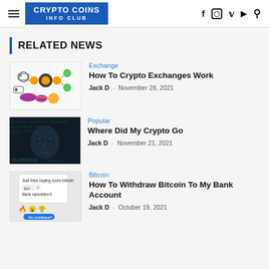CRYPTO COINS INFO CLUB
RELATED NEWS
[Figure (infographic): Crypto exchange process infographic diagram with nodes and arrows]
Exchange
How To Crypto Exchanges Work
Jack D · November 28, 2021
[Figure (photo): Dark photo of a US dollar bill face overlaid with blockchain/code text]
Popular
Where Did My Crypto Go
Jack D · November 21, 2021
[Figure (screenshot): Screenshot of a phone showing a failed bitcoin purchase on Coinbase with emojis]
Bitcoin
How To Withdraw Bitcoin To My Bank Account
Jack D · October 19, 2021